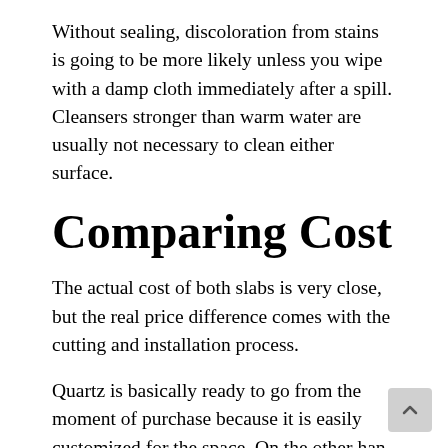Without sealing, discoloration from stains is going to be more likely unless you wipe with a damp cloth immediately after a spill. Cleansers stronger than warm water are usually not necessary to clean either surface.
Comparing Cost
The actual cost of both slabs is very close, but the real price difference comes with the cutting and installation process.
Quartz is basically ready to go from the moment of purchase because it is easily customized for the space. On the other han quartzite is more complicated because it ha...